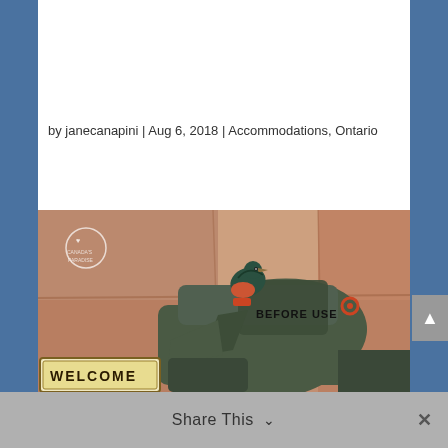by janecanapini | Aug 6, 2018 | Accommodations, Ontario
[Figure (photo): A photo showing an old piece of rustic equipment or machinery with text 'BEFORE USE' visible on it, set against a granite/stone wall background. At the bottom left is a 'WELCOME' sign. A bird (appears to be a robin or similar) is perched on the machinery. There is a small circular logo/watermark in the upper left area of the photo.]
Share This ∨